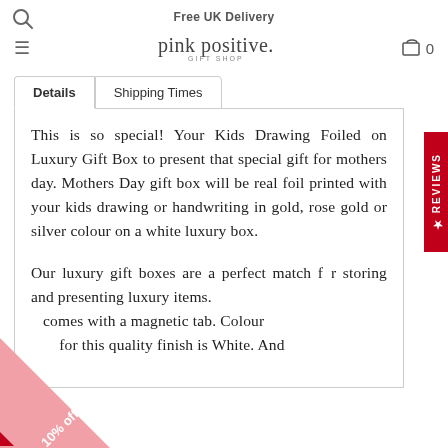Free UK Delivery
pink positive. gift shop
Details  Shipping Times
This is so special! Your Kids Drawing Foiled on Luxury Gift Box to present that special gift for mothers day. Mothers Day gift box will be real foil printed with your kids drawing or handwriting in gold, rose gold or silver colour on a white luxury box.

Our luxury gift boxes are a perfect match for storing and presenting luxury items. comes with a magnetic tab. Colour for this quality finish is White. And